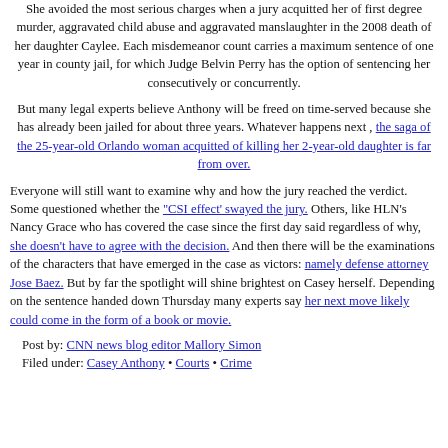She avoided the most serious charges when a jury acquitted her of first degree murder, aggravated child abuse and aggravated manslaughter in the 2008 death of her daughter Caylee. Each misdemeanor count carries a maximum sentence of one year in county jail, for which Judge Belvin Perry has the option of sentencing her consecutively or concurrently.
But many legal experts believe Anthony will be freed on time-served because she has already been jailed for about three years. Whatever happens next , the saga of the 25-year-old Orlando woman acquitted of killing her 2-year-old daughter is far from over.
Everyone will still want to examine why and how the jury reached the verdict. Some questioned whether the "CSI effect' swayed the jury. Others, like HLN's Nancy Grace who has covered the case since the first day said regardless of why, she doesn't have to agree with the decision. And then there will be the examinations of the characters that have emerged in the case as victors: namely defense attorney Jose Baez. But by far the spotlight will shine brightest on Casey herself. Depending on the sentence handed down Thursday many experts say her next move likely could come in the form of a book or movie.
Post by: CNN news blog editor Mallory Simon
Filed under: Casey Anthony • Courts • Crime